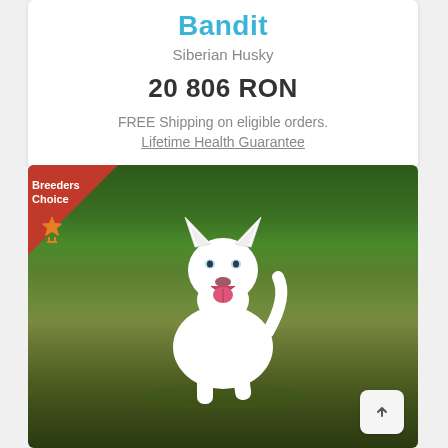Bandit
Siberian Husky
20 806 RON
FREE Shipping on eligible orders.
Lifetime Health Guarantee
[Figure (photo): A white Siberian Husky dog running joyfully across a green grass field, mouth open and tongue out, with trees in the background. A red triangular 'Breeders Choice' badge is overlaid in the top-left corner of the image with an orange star/medal icon below it.]